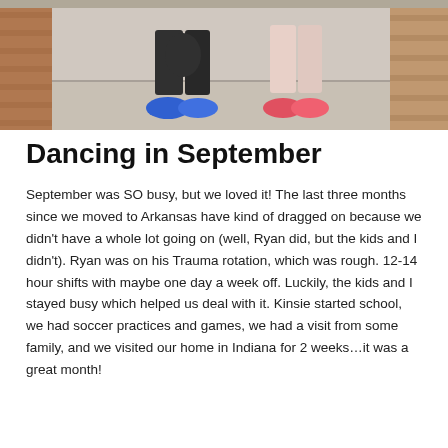[Figure (photo): Partial photo showing the lower bodies and legs of two children standing on a concrete surface near a brick wall entrance. One child wears blue shoes and black shorts; the other wears pink/red shoes. The top portion is cropped.]
Dancing in September
September was SO busy, but we loved it! The last three months since we moved to Arkansas have kind of dragged on because we didn't have a whole lot going on (well, Ryan did, but the kids and I didn't). Ryan was on his Trauma rotation, which was rough. 12-14 hour shifts with maybe one day a week off. Luckily, the kids and I stayed busy which helped us deal with it. Kinsie started school, we had soccer practices and games, we had a visit from some family, and we visited our home in Indiana for 2 weeks…it was a great month!